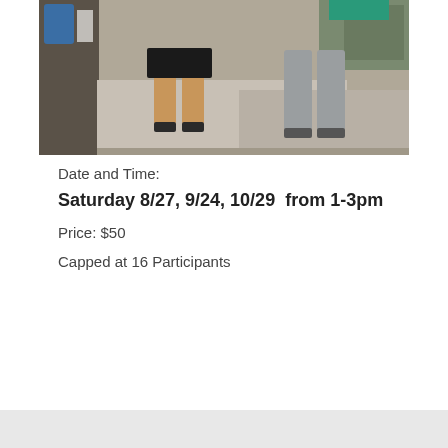[Figure (photo): Two people in a gym/warehouse setting; one wearing black shorts and the other wearing gray pants, photographed from the waist down. Background shows gym equipment and a concrete floor.]
Date and Time:
Saturday 8/27, 9/24, 10/29  from 1-3pm
Price: $50
Capped at 16 Participants